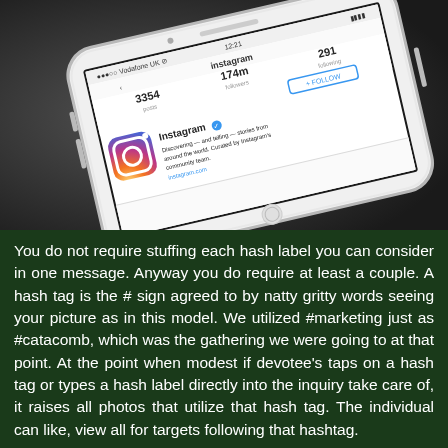[Figure (photo): A white iPhone lying on a dark surface, displaying the Instagram app profile page showing stats: 3354 posts, 174m followers, 291 following, with a +FOLLOW button and the Instagram logo/icon visible on screen.]
You do not require stuffing each hash label you can consider in one message. Anyway you do require at least a couple. A hash tag is the # sign agreed to by natty gritty words seeing your picture as in this model. We utilized #marketing just as #catacomb, which was the gathering we were going to at that point. At the point when modest if devotee's taps on a hash tag or types a hash label directly into the inquiry take care of, it raises all photos that utilize that hash tag. The individual can like, view all for targets following that hashtag.